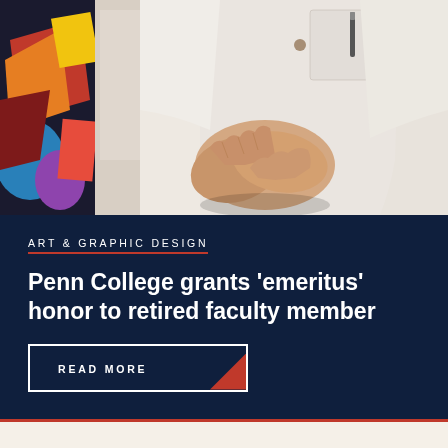[Figure (photo): A person in a white shirt with clasped hands, standing in front of colorful artwork/paintings. Only the torso and hands are visible.]
ART & GRAPHIC DESIGN
Penn College grants ‘emeritus’ honor to retired faculty member
READ MORE